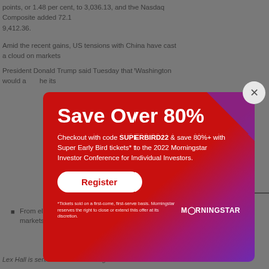points, or 1.48 per cent, to 3,036.13, and the Nasdaq Composite added 72.1 9,412.36.
Amid the recent gains, US tensions with China have cast a cloud on markets
President Donald Trump said Tuesday that Washington would a he its
o longer ts status
ed that t middle c
d Videos:
SMC si
elstra's reporting
CBA gro season
[Figure (infographic): Morningstar promotional modal overlay with red-to-purple gradient background. Title: 'Save Over 80%'. Subtitle: 'Checkout with code SUPERBIRD22 & save 80%+ with Super Early Bird tickets* to the 2022 Morningstar Investor Conference for Individual Investors.' Register button (white pill button with red text). Disclaimer text and Morningstar logo at bottom. Close button (X) in top right corner.]
From elation to exasperation, investing in volatile markets: Firstlinks Newsletter
Lex Hall is senior editor for Morningstar Australia